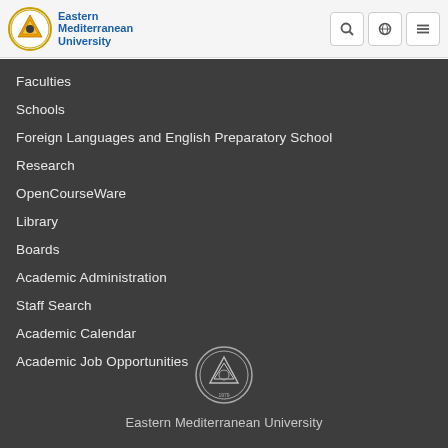[Figure (logo): Eastern Mediterranean University circular logo with golden triangle motif, next to bold blue text 'Eastern Mediterranean University']
Faculties
Schools
Foreign Languages and English Preparatory School
Research
OpenCourseWare
Library
Boards
Academic Administration
Staff Search
Academic Calendar
Academic Job Opportunities
[Figure (logo): Eastern Mediterranean University circular seal/logo in grey/white tones]
Eastern Mediterranean University